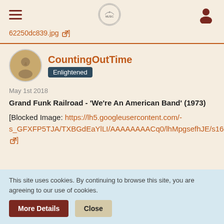Navigation header with hamburger menu, site logo, and user icon
62250dc839.jpg [external link]
CountingOutTime
Enlightened
May 1st 2018
Grand Funk Railroad - 'We're An American Band' (1973)
[Blocked Image: https://lh5.googleusercontent.com/-s_GFXFP5TJA/TXBGdEaYlLI/AAAAAAAACq0/lhMpgsefhJE/s1600/funk.jpg]
This site uses cookies. By continuing to browse this site, you are agreeing to our use of cookies.